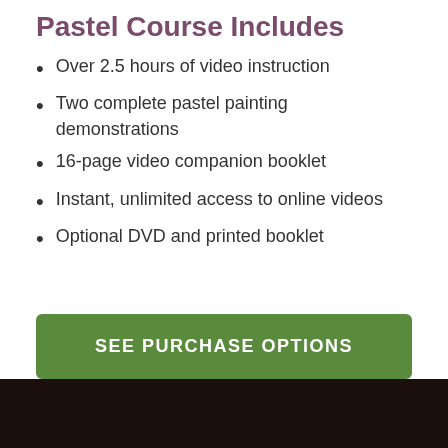Pastel Course Includes
Over 2.5 hours of video instruction
Two complete pastel painting demonstrations
16-page video companion booklet
Instant, unlimited access to online videos
Optional DVD and printed booklet
SEE PURCHASE OPTIONS
Get Started Today